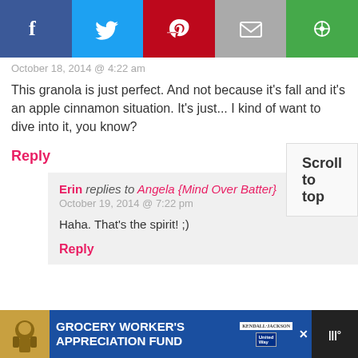[Figure (screenshot): Social share bar with Facebook, Twitter, Pinterest, Email, and green share buttons]
October 18, 2014 @ 4:22 am
This granola is just perfect. And not because it's fall and it's an apple cinnamon situation. It's just... I kind of want to dive into it, you know?
Reply
Erin replies to Angela {Mind Over Batter}
October 19, 2014 @ 7:22 pm
Haha. That's the spirit! ;)
Reply
[Figure (screenshot): Scroll to top widget box]
[Figure (screenshot): Advertisement banner: Grocery Worker's Appreciation Fund with Kendall-Jackson and United Way logos]